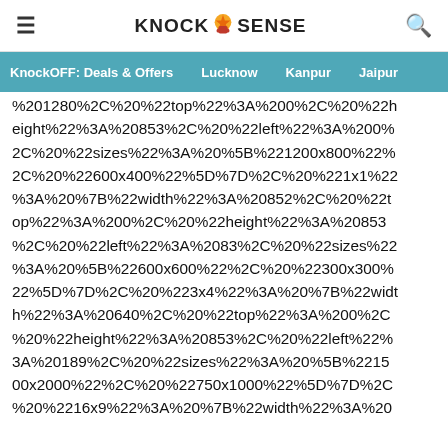KnockSense
KnockOFF: Deals & Offers  Lucknow  Kanpur  Jaipur
%201280%2C%20%22top%22%3A%200%2C%20%22height%22%3A%20853%2C%20%22left%22%3A%200%2C%20%22sizes%22%3A%20%5B%221200x800%22%2C%20%22600x400%22%5D%7D%2C%20%221x1%22%3A%20%7B%22width%22%3A%20852%2C%20%22top%22%3A%200%2C%20%22height%22%3A%20853%2C%20%22left%22%3A%2083%2C%20%22sizes%22%3A%20%5B%22600x600%22%2C%20%22300x300%22%5D%7D%2C%20%223x4%22%3A%20%7B%22width%22%3A%20640%2C%20%22top%22%3A%200%2C%20%22height%22%3A%20853%2C%20%22left%22%3A%20189%2C%20%22sizes%22%3A%20%5B%221500x2000%22%2C%20%22750x1000%22%5D%7D%2C%20%2216x9%22%3A%20%7B%22width%22%3A%20A%20%20